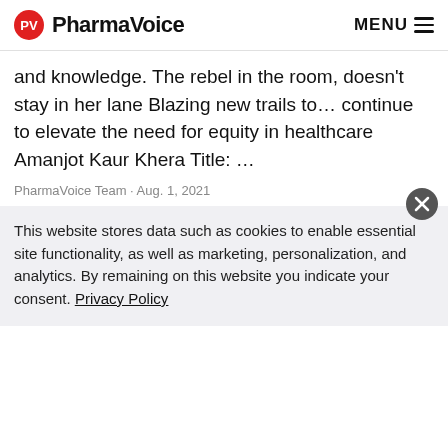PharmaVoice  MENU
and knowledge. The rebel in the room, doesn't stay in her lane Blazing new trails to… continue to elevate the need for equity in healthcare Amanjot Kaur Khera Title: …
PharmaVoice Team • Aug. 1, 2021
[Figure (photo): Placeholder image with silhouette figures at the bottom, grey background]
This website stores data such as cookies to enable essential site functionality, as well as marketing, personalization, and analytics. By remaining on this website you indicate your consent. Privacy Policy